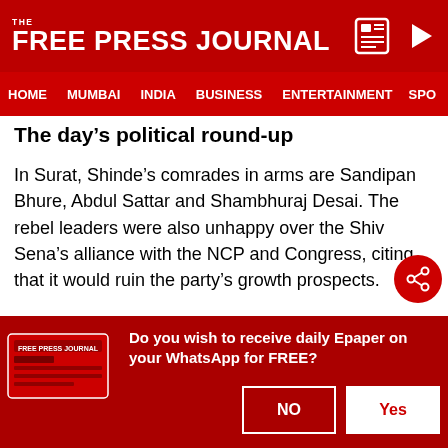THE FREE PRESS JOURNAL
HOME  MUMBAI  INDIA  BUSINESS  ENTERTAINMENT  SPO
The day's political round-up
In Surat, Shinde's comrades in arms are Sandipan Bhure, Abdul Sattar and Shambhuraj Desai. The rebel leaders were also unhappy over the Shiv Sena's alliance with the NCP and Congress, citing that it would ruin the party's growth prospects.
The turmoil hit the government a day after the BJP won all five seats it contested in the Legislative Council... The Congress and NCP have also to contend in
Do you wish to receive daily Epaper on your WhatsApp for FREE?